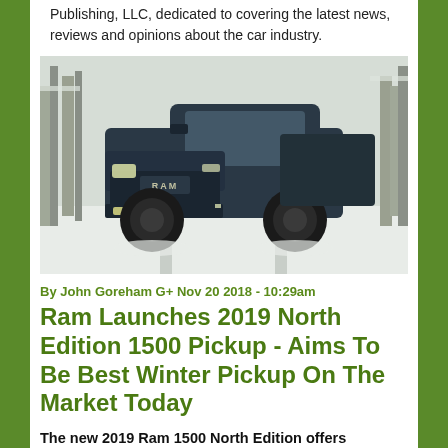Publishing, LLC, dedicated to covering the latest news, reviews and opinions about the car industry.
[Figure (photo): A dark blue Ram 1500 pickup truck driving through a snowy forest scene]
By John Goreham G+ Nov 20 2018 - 10:29am
Ram Launches 2019 North Edition 1500 Pickup - Aims To Be Best Winter Pickup On The Market Today
The new 2019 Ram 1500 North Edition offers equipment and capabilities not found on